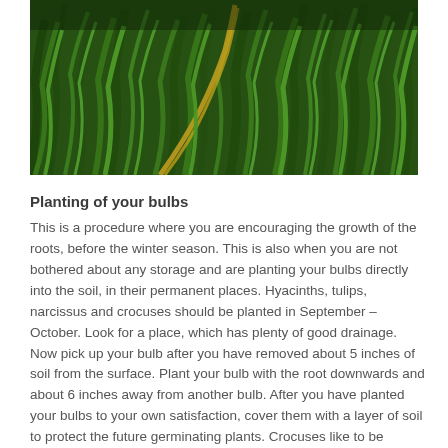[Figure (photo): Close-up photograph of green grass blades with a yellow-orange streak visible among the green foliage.]
Planting of your bulbs
This is a procedure where you are encouraging the growth of the roots, before the winter season. This is also when you are not bothered about any storage and are planting your bulbs directly into the soil, in their permanent places. Hyacinths, tulips, narcissus and crocuses should be planted in September – October. Look for a place, which has plenty of good drainage. Now pick up your bulb after you have removed about 5 inches of soil from the surface. Plant your bulb with the root downwards and about 6 inches away from another bulb. After you have planted your bulbs to your own satisfaction, cover them with a layer of soil to protect the future germinating plants. Crocuses like to be planted in shallow holes, so dig a 2 inch hole for crocuses, before planting.